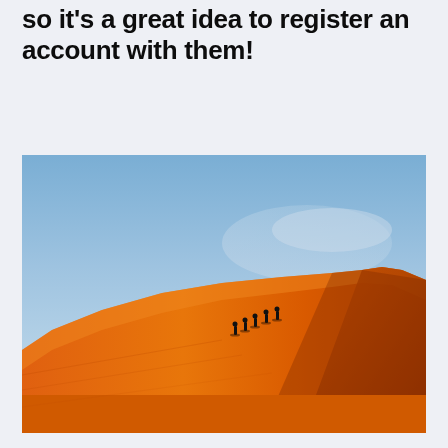so it's a great idea to register an account with them!
[Figure (photo): A photograph of a massive orange sand dune under a clear blue sky, with a small group of people silhouetted climbing the ridge of the dune, and wind-blown sand visible at the peak.]